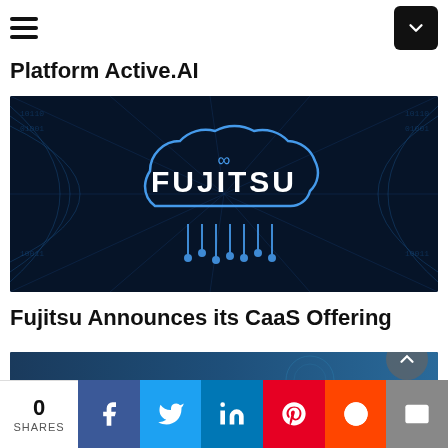Platform Active.AI
[Figure (logo): Fujitsu cloud computing promotional image — glowing blue cloud shape with 'FUJITSU' text and infinity symbol, on a dark blue digital network background]
Fujitsu Announces its CaaS Offering
[Figure (photo): Mimecast article image — dark background with 'mimecast' logo text and a person's face partially visible, with a circular back-to-top arrow button]
0 SHARES | Facebook | Twitter | LinkedIn | Pinterest | Reddit | Email